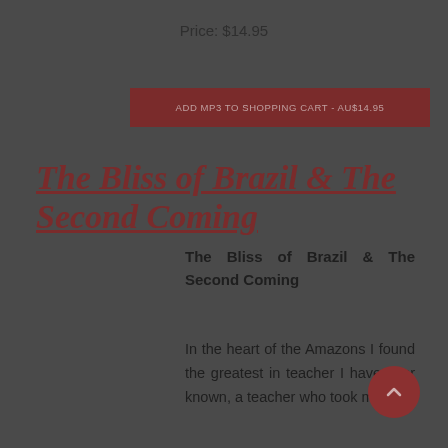Price: $14.95
ADD MP3 TO SHOPPING CART - AU$14.95
The Bliss of Brazil & The Second Coming
The Bliss of Brazil & The Second Coming
In the heart of the Amazons I found the greatest in teacher I have ever known, a teacher who took me into